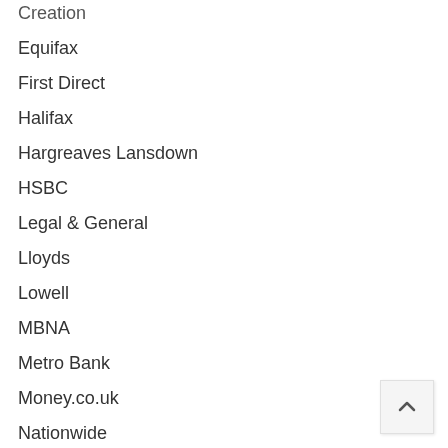Creation
Equifax
First Direct
Halifax
Hargreaves Lansdown
HSBC
Legal & General
Lloyds
Lowell
MBNA
Metro Bank
Money.co.uk
Nationwide
NatWest
Noddle
Paypal
Perfect Home
Phoenix Life